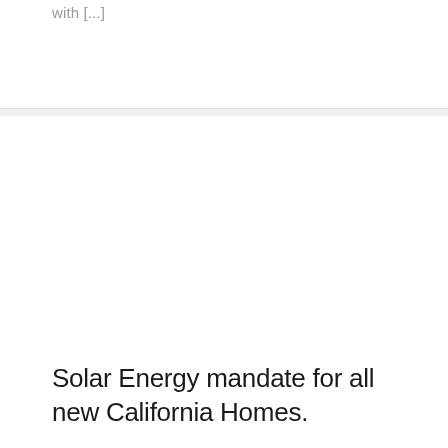with [...]
Solar Energy mandate for all new California Homes.
July 16th, 2019
California has approved the mandate for solar